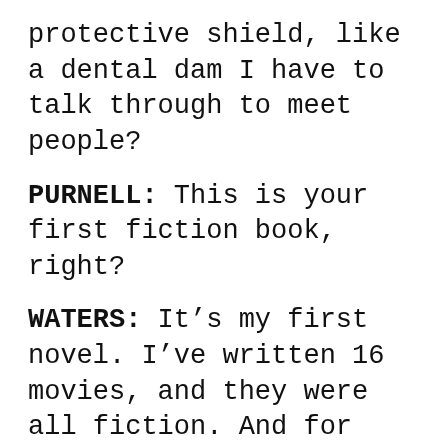protective shield, like a dental dam I have to talk through to meet people?
PURNELL: This is your first fiction book, right?
WATERS: It’s my first novel. I’ve written 16 movies, and they were all fiction. And for Carsick [Waters’s 2014 quasi-memoir], the first two thirds of the book were fiction in terms of me imagining the best and worst hitchhiking rides, but that’s different because I was a character in it. When it’s a novel, maybe you’re every character, but John Waters himself is